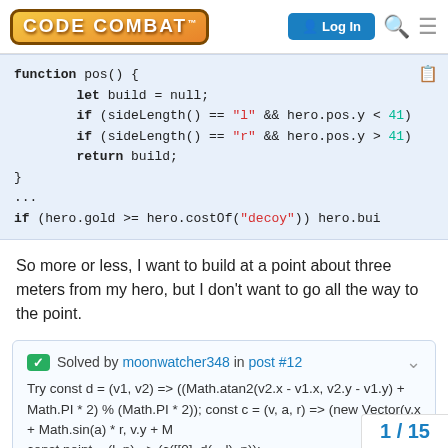CODE COMBAT | Log In
[Figure (screenshot): Code block showing JavaScript function pos() with if statements using sideLength(), hero.pos.y, and hero.gold comparisons]
So more or less, I want to build at a point about three meters from my hero, but I don't want to go all the way to the point.
Solved by moonwatcher348 in post #12
Try const d = (v1, v2) => ((Math.atan2(v2.x - v1.x, v2.y - v1.y) + Math.PI * 2) % (Math.PI * 2)); const c = (v, a, r) => (new Vector(v.x + Math.sin(a) * r, v.y + M... const point = (l, n) => (c([[0], d(…l), n));
1 / 15